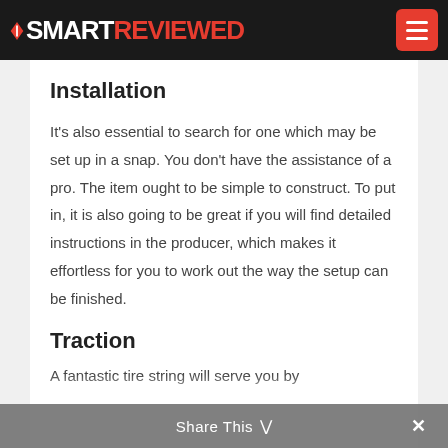SMART REVIEWED
Installation
It's also essential to search for one which may be set up in a snap. You don't have the assistance of a pro. The item ought to be simple to construct. To put in, it is also going to be great if you will find detailed instructions in the producer, which makes it effortless for you to work out the way the setup can be finished.
Traction
A fantastic tire string will serve you by